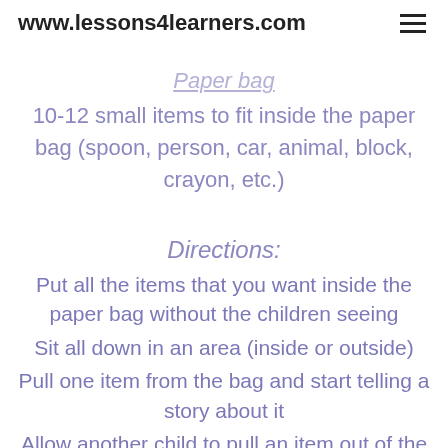www.lessons4learners.com
Paper bag
10-12 small items to fit inside the paper bag (spoon, person, car, animal, block, crayon, etc.)
Directions:
Put all the items that you want inside the paper bag without the children seeing
Sit all down in an area (inside or outside)
Pull one item from the bag and start telling a story about it
Allow another child to pull an item out of the bag and have them continue the story with that item in it